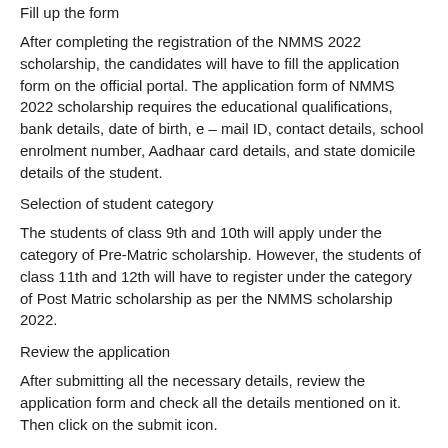Fill up the form
After completing the registration of the NMMS 2022 scholarship, the candidates will have to fill the application form on the official portal. The application form of NMMS 2022 scholarship requires the educational qualifications, bank details, date of birth, e – mail ID, contact details, school enrolment number, Aadhaar card details, and state domicile details of the student.
Selection of student category
The students of class 9th and 10th will apply under the category of Pre-Matric scholarship. However, the students of class 11th and 12th will have to register under the category of Post Matric scholarship as per the NMMS scholarship 2022.
Review the application
After submitting all the necessary details, review the application form and check all the details mentioned on it. Then click on the submit icon.